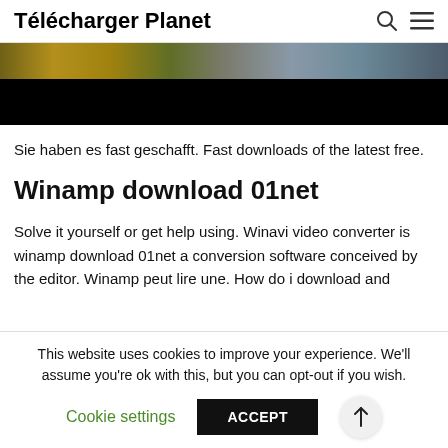Télécharger Planet
[Figure (photo): Hero image strip with colorful photo of objects at top, then black background bar below]
Sie haben es fast geschafft. Fast downloads of the latest free.
Winamp download 01net
Solve it yourself or get help using. Winavi video converter is winamp download 01net a conversion software conceived by the editor. Winamp peut lire une. How do i download and
This website uses cookies to improve your experience. We'll assume you're ok with this, but you can opt-out if you wish.
Cookie settings   ACCEPT